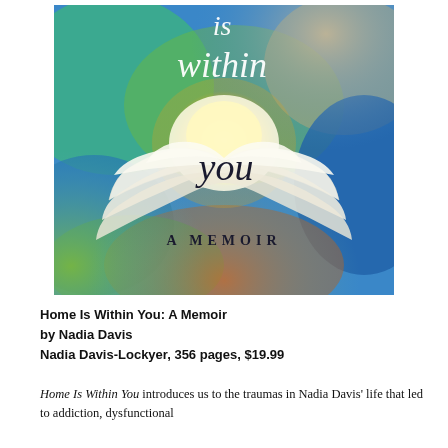[Figure (illustration): Book cover of 'Home Is Within You: A Memoir' by Nadia Davis. Watercolor background in blues, greens, yellows, and teals with white feather wings spread around a glowing golden circle. Text 'is within you' in white cursive at top, 'you' in black script in the center, and 'A MEMOIR' in dark spaced capital letters at the bottom.]
Home Is Within You: A Memoir
by Nadia Davis
Nadia Davis-Lockyer, 356 pages, $19.99
Home Is Within You introduces us to the traumas in Nadia Davis' life that led to addiction, dysfunctional